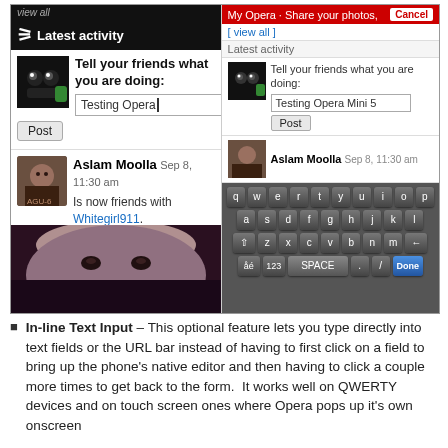[Figure (screenshot): Two mobile phone screenshots side by side showing Opera Mini 5 social network feature. Left: black header 'Latest activity', avatar, text field with 'Testing Opera' and tooltip 'kl5', Post button, Aslam Moolla activity, face photo. Right: Red bar 'My Opera · Share your photos, Cancel', Latest activity panel with text input 'Testing Opera Mini 5', Post button, Aslam Moolla Sep 8 11:30am, and an on-screen QWERTY keyboard with Done button.]
In-line Text Input – This optional feature lets you type directly into text fields or the URL bar instead of having to first click on a field to bring up the phone's native editor and then having to click a couple more times to get back to the form.  It works well on QWERTY devices and on touch screen ones where Opera pops up it's own onscreen